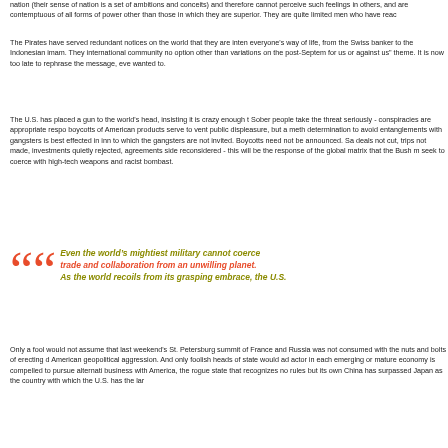nation (their sense of nation is a set of ambitions and conceits) and therefore cannot perceive such feelings in others, and are contemptuous of all forms of power other than those in which they are superior. They are quite limited men who have reac...
The Pirates have served redundant notices on the world that they are intent on disrupting everyone's way of life, from the Swiss banker to the Indonesian imam. They leave the international community no option other than variations on the post-September 11 "you are for us or against us" theme. It is now too late to rephrase the message, even if they wanted to.
The U.S. has placed a gun to the world's head, insisting it is crazy enough to use it. Sober people take the threat seriously - conspiracies are appropriate responses. Public boycotts of American products serve to vent public displeasure, but a methodical determination to avoid entanglements with gangsters is best effected in innumerable ways to which the gangsters are not invited. Boycotts need not be announced. Sales not made, deals not cut, trips not made, investments quietly rejected, agreements sidestepped, reconsidered - this will be the response of the global matrix that the Bush men hope to seek to coerce with high-tech weapons and racist bombast.
Even the world's mightiest military cannot coerce trade and collaboration from an unwilling planet. As the world recoils from its grasping embrace, the U.S...
Only a fool would not assume that last weekend's St. Petersburg summit of Germany, France and Russia was not consumed with the nuts and bolts of erecting defenses against American geopolitical aggression. And only foolish heads of state would admit it. Every actor in each emerging or mature economy is compelled to pursue alternatives. To do business with America, the rogue state that recognizes no rules but its own... China has surpassed Japan as the country with which the U.S. has the lar...